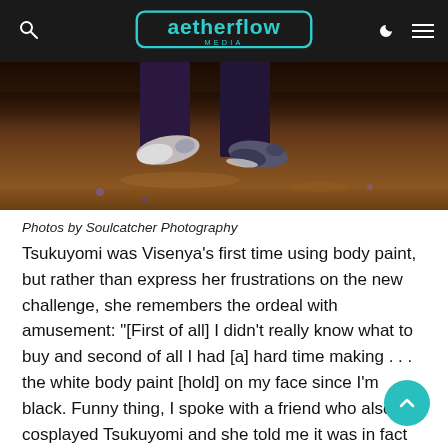aetherflow MEDIA
[Figure (photo): Close-up photo showing feet/shoes on a wooden floor, partially visible at the bottom, with dark purple/black pants. Warm brown tones on the floor with reflections.]
Photos by Soulcatcher Photography
Tsukuyomi was Visenya’s first time using body paint, but rather than express her frustrations on the new challenge, she remembers the ordeal with amusement: “[First of all] I didn’t really know what to buy and second of all I had [a] hard time making . . . the white body paint [hold] on my face since I’m black. Funny thing, I spoke with a friend who also cosplayed Tsukuyomi and she told me it was in fact the black part of the body paint that was tricky for her since she is white. We laughed about it.” Despite the difficulty with body paint, Visenya says her FFXIV